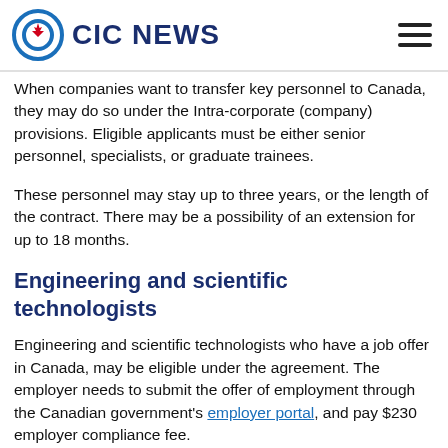CIC NEWS
When companies want to transfer key personnel to Canada, they may do so under the Intra-corporate (company) provisions. Eligible applicants must be either senior personnel, specialists, or graduate trainees.
These personnel may stay up to three years, or the length of the contract. There may be a possibility of an extension for up to 18 months.
Engineering and scientific technologists
Engineering and scientific technologists who have a job offer in Canada, may be eligible under the agreement. The employer needs to submit the offer of employment through the Canadian government's employer portal, and pay $230 employer compliance fee.